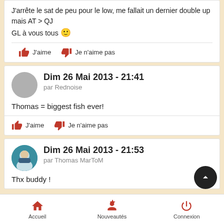J'arrête le sat de peu pour le low, me fallait un dernier double up mais AT > QJ
GL à vous tous 🙂
J'aime   Je n'aime pas
Dim 26 Mai 2013 - 21:41
par Rednoise
Thomas = biggest fish ever!
J'aime   Je n'aime pas
Dim 26 Mai 2013 - 21:53
par Thomas MarToM
Thx buddy !
Accueil   Nouveautés   Connexion